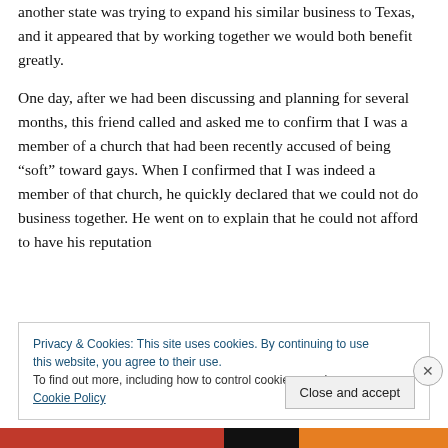another state was trying to expand his similar business to Texas, and it appeared that by working together we would both benefit greatly.
One day, after we had been discussing and planning for several months, this friend called and asked me to confirm that I was a member of a church that had been recently accused of being “soft” toward gays. When I confirmed that I was indeed a member of that church, he quickly declared that we could not do business together. He went on to explain that he could not afford to have his reputation
Privacy & Cookies: This site uses cookies. By continuing to use this website, you agree to their use.
To find out more, including how to control cookies, see here: Cookie Policy